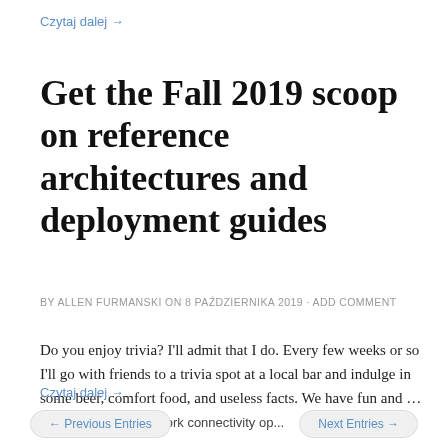Czytaj dalej →
Get the Fall 2019 scoop on reference architectures and deployment guides
BY ALLEN FURMANSKI ON 8 PAŹDZIERNIKA 2019 · ADD COMMENT
Do you enjoy trivia? I'll admit that I do. Every few weeks or so I'll go with friends to a trivia spot at a local bar and indulge in some beer, comfort food, and useless facts. We have fun and …  Related StoriesNetwork connectivity op...
Czytaj dalej →
← Previous Entries    Next Entries →